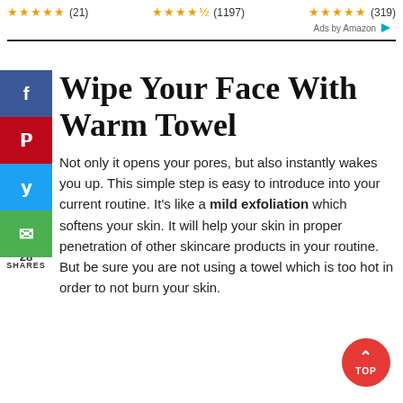[Figure (infographic): Three Amazon product star rating groups: 5 stars (21 reviews), 4.5 stars (1197 reviews), 5 stars (319 reviews), with Ads by Amazon label]
Wipe Your Face With Warm Towel
Not only it opens your pores, but also instantly wakes you up. This simple step is easy to introduce into your current routine. It's like a mild exfoliation which softens your skin. It will help your skin in proper penetration of other skincare products in your routine. But be sure you are not using a towel which is too hot in order to not burn your skin.